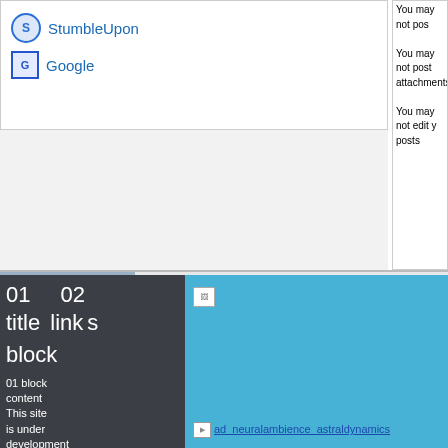StumbleUpon
Google
You may not post attachments
You may not edit your posts
[Figure (photo): Headshot photo of Robert Bruce, a bald man in a dark shirt against a cloudy sky background]
Robert Bruce's Brand N[ew]
Learn The Secrets
Click Here To Get
01  02
title  links
block
01 block content
This site is under development
02
block
content
[Figure (other): Small broken image placeholder]
[Figure (other): ad_neuralambience_astraldynamics image link]